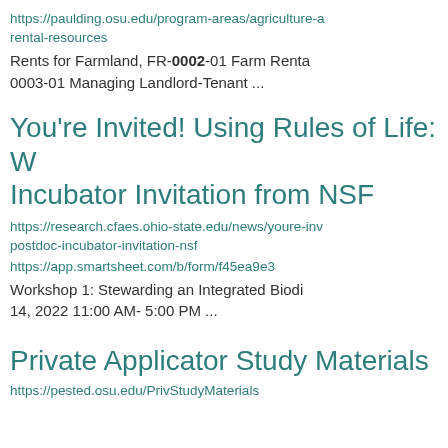https://paulding.osu.edu/program-areas/agriculture-a rental-resources
Rents for Farmland, FR-0002-01 Farm Renta 0003-01 Managing Landlord-Tenant ...
You're Invited! Using Rules of Life: W Incubator Invitation from NSF
https://research.cfaes.ohio-state.edu/news/youre-inv postdoc-incubator-invitation-nsf
https://app.smartsheet.com/b/form/f45ea9e3
Workshop 1: Stewarding an Integrated Biodi 14, 2022 11:00 AM- 5:00 PM ...
Private Applicator Study Materials
https://pested.osu.edu/PrivStudyMaterials